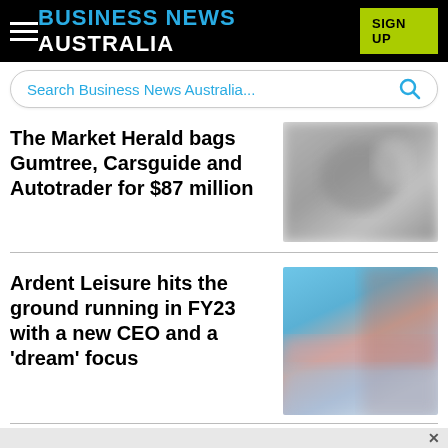BUSINESS NEWS AUSTRALIA | SIGN UP
Search Business News Australia...
The Market Herald bags Gumtree, Carsguide and Autotrader for $87 million
[Figure (photo): Blurred black and white photo associated with The Market Herald article]
Ardent Leisure hits the ground running in FY23 with a new CEO and a 'dream' focus
[Figure (photo): Blurred blue-toned photo associated with Ardent Leisure article]